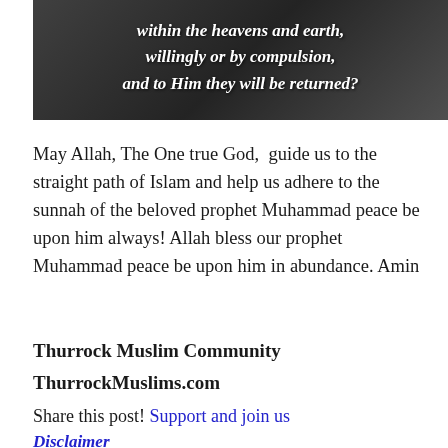[Figure (photo): Aerial photograph of Mecca/Kaaba with overlaid white italic text reading 'within the heavens and earth, willingly or by compulsion, and to Him they will be returned?']
May Allah, The One true God,  guide us to the straight path of Islam and help us adhere to the sunnah of the beloved prophet Muhammad peace be upon him always! Allah bless our prophet Muhammad peace be upon him in abundance. Amin
Thurrock Muslim Community
ThurrockMuslims.com
Share this post! Support and join us
Disclaimer